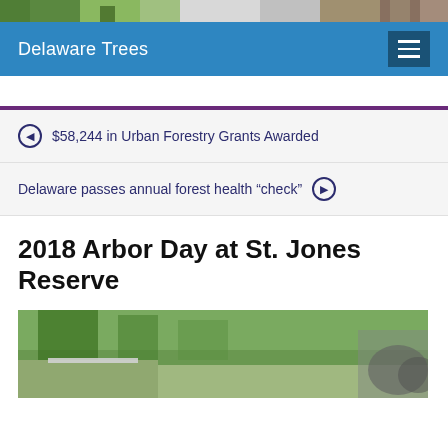[Figure (photo): Header photo strip showing trees and outdoor scenes]
Delaware Trees
$58,244 in Urban Forestry Grants Awarded
Delaware passes annual forest health “check”
2018 Arbor Day at St. Jones Reserve
[Figure (photo): Outdoor photo at St. Jones Reserve showing trees and people]